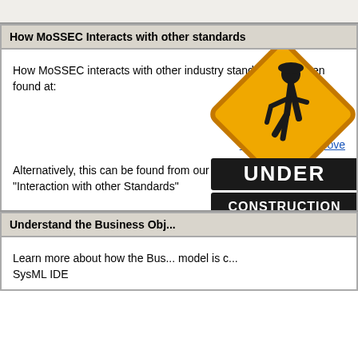How MoSSEC Interacts with other standards
How MoSSEC interacts with other industry standards has been found at:
www.mossec.org/ove...
Alternatively, this can be found from our homepage by "Interaction with other Standards"
Understand the Business Obj...
Learn more about how the Business ... model is ... SysML IDE
[Figure (illustration): Under construction warning sign with worker silhouette and text UNDER CONSTRUCTION]